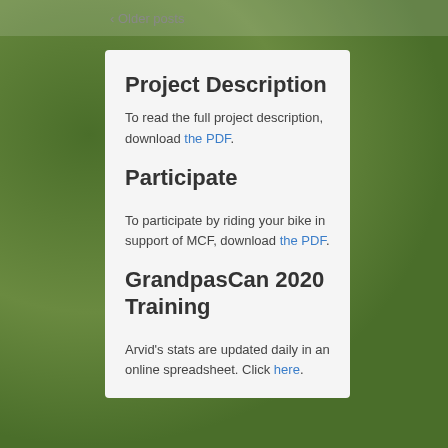‹ Older posts
Project Description
To read the full project description, download the PDF.
Participate
To participate by riding your bike in support of MCF, download the PDF.
GrandpasCan 2020 Training
Arvid's stats are updated daily in an online spreadsheet. Click here.